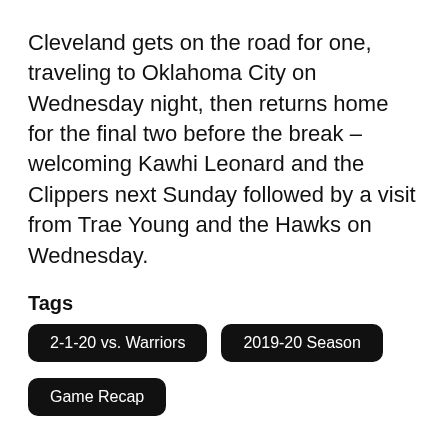Cleveland gets on the road for one, traveling to Oklahoma City on Wednesday night, then returns home for the final two before the break – welcoming Kawhi Leonard and the Clippers next Sunday followed by a visit from Trae Young and the Hawks on Wednesday.
Tags
2-1-20 vs. Warriors
2019-20 Season
Game Recap